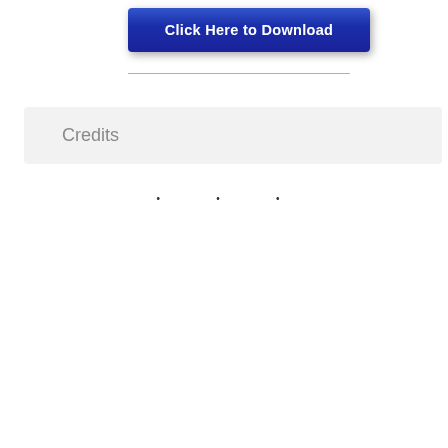[Figure (other): Blue gradient button with white bold text reading 'Click Here to Download']
Credits
• • •